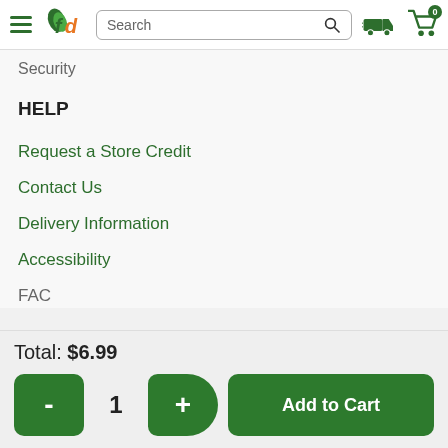fd — Search navigation bar with hamburger menu, logo, search box, delivery icon, cart icon with badge 0
Security
HELP
Request a Store Credit
Contact Us
Delivery Information
Accessibility
FAC
Total: $6.99
- 1 + Add to Cart